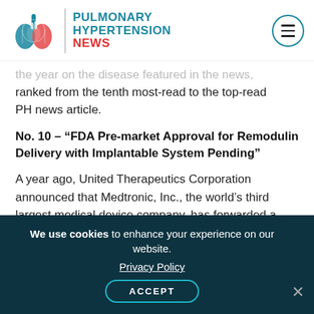PULMONARY HYPERTENSION NEWS
the year on the disease featured in the news, ranked from the tenth most-read to the top-read PH news article.
No. 10 – “FDA Pre-market Approval for Remodulin Delivery with Implantable System Pending”
A year ago, United Therapeutics Corporation announced that Medtronic, Inc., the world’s third largest medical device company, has forwarded a pre-market approval application to the U.S. Food and Drug Administration (FDA) for their proprietary SynchroMed® II implantable drug
We use cookies to enhance your experience on our website. Privacy Policy ACCEPT